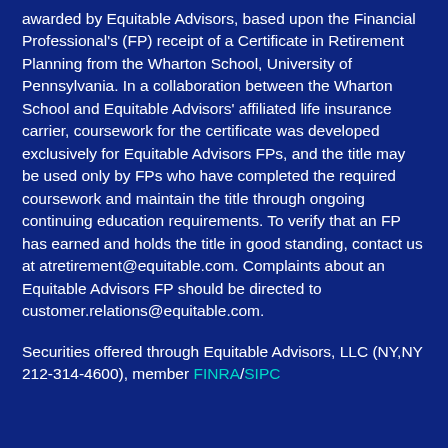awarded by Equitable Advisors, based upon the Financial Professional's (FP) receipt of a Certificate in Retirement Planning from the Wharton School, University of Pennsylvania. In a collaboration between the Wharton School and Equitable Advisors' affiliated life insurance carrier, coursework for the certificate was developed exclusively for Equitable Advisors FPs, and the title may be used only by FPs who have completed the required coursework and maintain the title through ongoing continuing education requirements. To verify that an FP has earned and holds the title in good standing, contact us at atretirement@equitable.com. Complaints about an Equitable Advisors FP should be directed to customer.relations@equitable.com.
Securities offered through Equitable Advisors, LLC (NY,NY 212-314-4600), member FINRA/SIPC